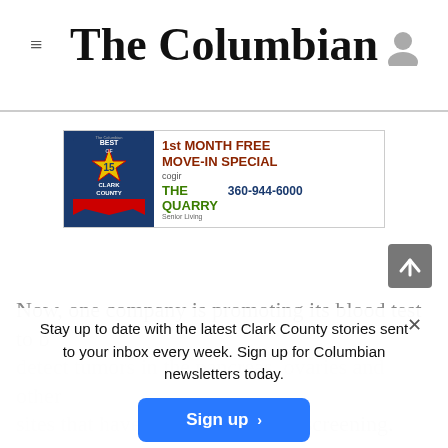back.
The Columbian
[Figure (infographic): Advertisement for The Quarry Senior Living: '1st MONTH FREE MOVE-IN SPECIAL', Best of Clark County 15 badge, Cogir branding, phone number 360-944-6000]
Now, one company is promoting its blood test
detect tumors in the pancreas, ovaries and other
sites that have no recommended screening.
Stay up to date with the latest Clark County stories sent to your inbox every week. Sign up for Columbian newsletters today.